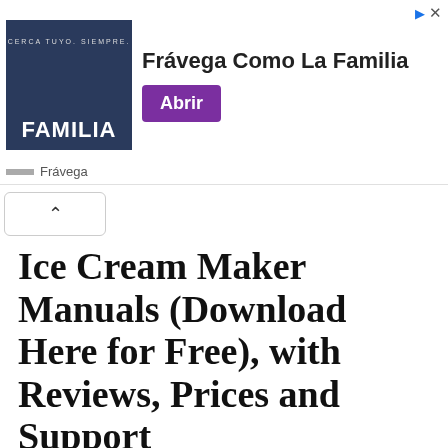[Figure (screenshot): Advertisement banner for Frávega showing group of people with text 'FAMILIA' and 'Frávega Como La Familia' with purple 'Abrir' button. Brand name 'Frávega' shown at bottom left with logo.]
Toggle navigation (collapse button with up arrow)
Ice Cream Maker Manuals (Download Here for Free), with Reviews, Prices and Support
PickYourOwn.org - Find a pick-your-own farm near you! Then learn to can and freeze!
Toggle navigation
Start here
Search
(social media icons: Facebook, Twitter, Email, Pinterest, Mail)